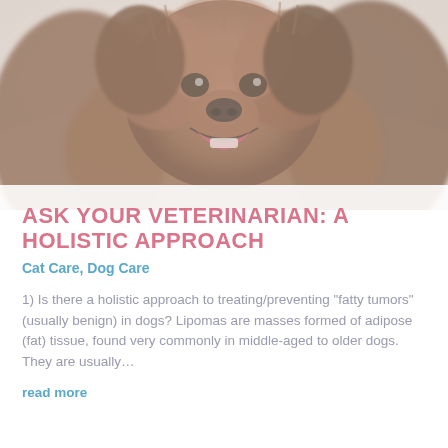[Figure (photo): A close-up photo of a fluffy brown/golden dog facing the camera with mouth open, set against a light background]
ASK YOUR VETERINARIAN: A HOLISTIC APPROACH
Cat Care, Dog Care
1) Is there a holistic approach to treating/preventing “fatty tumors” (usually benign) in dogs? Lipomas are masses formed of adipose (fat) tissue, found very commonly in middle-aged to older dogs. They are usually…
read more